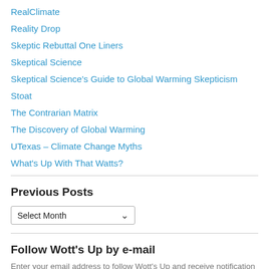RealClimate
Reality Drop
Skeptic Rebuttal One Liners
Skeptical Science
Skeptical Science's Guide to Global Warming Skepticism
Stoat
The Contrarian Matrix
The Discovery of Global Warming
UTexas – Climate Change Myths
What's Up With That Watts?
Previous Posts
Follow Wott's Up by e-mail
Enter your email address to follow Wott's Up and receive notification of